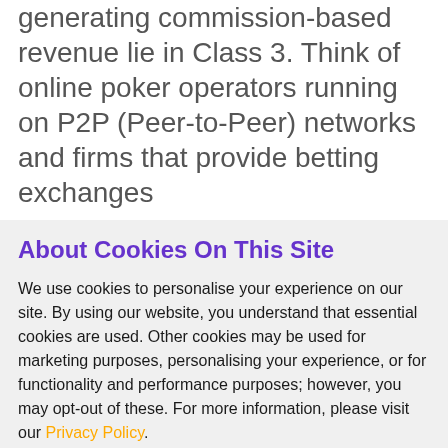generating commission-based revenue lie in Class 3. Think of online poker operators running on P2P (Peer-to-Peer) networks and firms that provide betting exchanges
About Cookies On This Site
We use cookies to personalise your experience on our site. By using our website, you understand that essential cookies are used. Other cookies may be used for marketing purposes, personalising your experience, or for functionality and performance purposes; however, you may opt-out of these. For more information, please visit our Privacy Policy.
ACCEPT ALL
OPTIONS